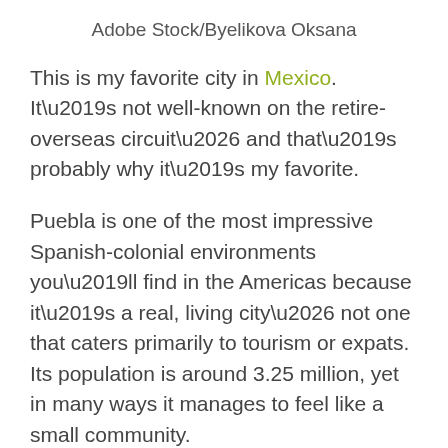Adobe Stock/Byelikova Oksana
This is my favorite city in Mexico. It’s not well-known on the retire-overseas circuit… and that’s probably why it’s my favorite.
Puebla is one of the most impressive Spanish-colonial environments you’ll find in the Americas because it’s a real, living city… not one that caters primarily to tourism or expats. Its population is around 3.25 million, yet in many ways it manages to feel like a small community.
Among international travelers, Puebla is known for its famous Talavera pottery and